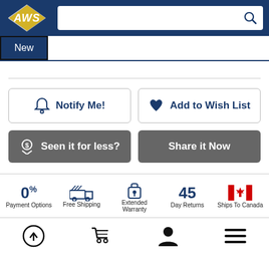[Figure (logo): AWS logo with yellow lightning bolt on blue background in header]
[Figure (screenshot): Search bar with magnifying glass icon on white background]
New
[Figure (screenshot): Notify Me! button with bell icon (outlined), Add to Wish List button with heart icon (outlined)]
[Figure (screenshot): Seen it for less? button with dollar icon (gray), Share it Now button (gray)]
[Figure (infographic): Feature icons: 0% Payment Options, Free Shipping (truck), Extended Warranty (lock), 45 Day Returns, Ships To Canada (Canadian flag)]
[Figure (screenshot): Bottom navigation bar with upload, cart, user, and menu icons]